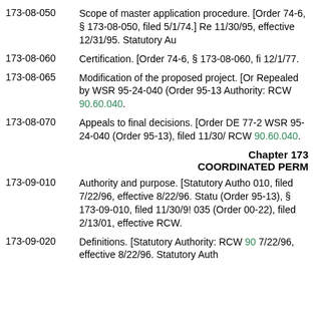173-08-050  Scope of master application procedure. [Order 74-6, § 173-08-050, filed 5/1/74.] Re 11/30/95, effective 12/31/95. Statutory Au
173-08-060  Certification. [Order 74-6, § 173-08-060, fi 12/1/77.
173-08-065  Modification of the proposed project. [Or Repealed by WSR 95-24-040 (Order 95-13 Authority: RCW 90.60.040.
173-08-070  Appeals to final decisions. [Order DE 77-2 WSR 95-24-040 (Order 95-13), filed 11/30/ RCW 90.60.040.
Chapter 173
COORDINATED PERM
173-09-010  Authority and purpose. [Statutory Autho 010, filed 7/22/96, effective 8/22/96. Statu (Order 95-13), § 173-09-010, filed 11/30/9! 035 (Order 00-22), filed 2/13/01, effective RCW.
173-09-020  Definitions. [Statutory Authority: RCW 90 7/22/96, effective 8/22/96. Statutory Auth